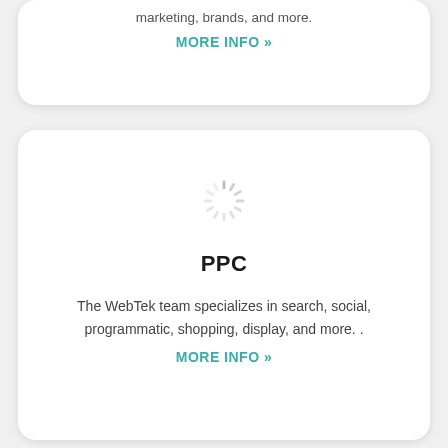marketing, brands, and more.
MORE INFO »
[Figure (illustration): A circular loading spinner icon made of short gray dashes arranged in a ring, indicating content is loading.]
PPC
The WebTek team specializes in search, social, programmatic, shopping, display, and more. .
MORE INFO »